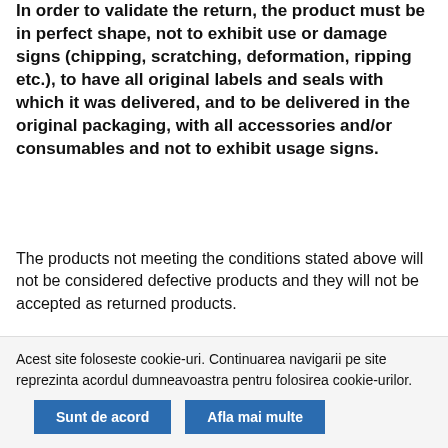In order to validate the return, the product must be in perfect shape, not to exhibit use or damage signs (chipping, scratching, deformation, ripping etc.), to have all original labels and seals with which it was delivered, and to be delivered in the original packaging, with all accessories and/or consumables and not to exhibit usage signs.
The products not meeting the conditions stated above will not be considered defective products and they will not be accepted as returned products.
Acest site foloseste cookie-uri. Continuarea navigarii pe site reprezinta acordul dumneavoastra pentru folosirea cookie-urilor.